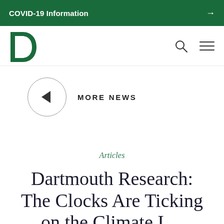COVID-19 Information →
[Figure (logo): Dartmouth College logo — green letter D with pine tree]
MORE NEWS
Articles
Dartmouth Research: The Clocks Are Ticking on the Climate I…